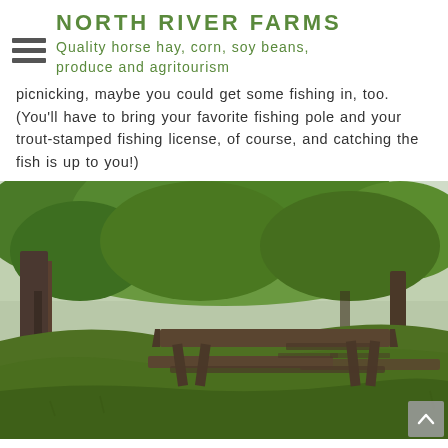NORTH RIVER FARMS
Quality horse hay, corn, soy beans, produce and agritourism
picnicking, maybe you could get some fishing in, too. (You'll have to bring your favorite fishing pole and your trout-stamped fishing license, of course, and catching the fish is up to you!)
[Figure (photo): Outdoor picnic area with a weathered wooden picnic table on a grassy hillside surrounded by large green trees]